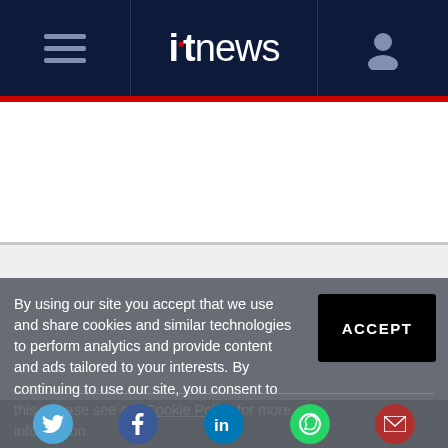itnews
[Figure (other): White advertisement area]
[Figure (other): Light gray advertisement area]
By using our site you accept that we use and share cookies and similar technologies to perform analytics and provide content and ads tailored to your interests. By continuing to use our site, you consent to this. Please see our Cookie Policy for more information.
[Figure (other): Social sharing bar with Twitter, Facebook, LinkedIn, WhatsApp, and email icons]